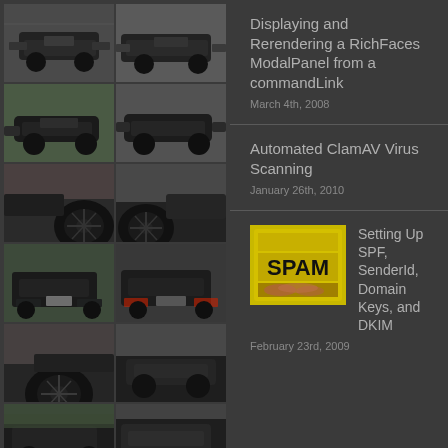[Figure (photo): Grid of car photos showing a dark BMW M6 from various angles]
Displaying and Rerendering a RichFaces ModalPanel from a commandLink
March 4th, 2008
Automated ClamAV Virus Scanning
January 26th, 2010
[Figure (photo): SPAM can image thumbnail]
Setting Up SPF, SenderId, Domain Keys, and DKIM
February 23rd, 2009